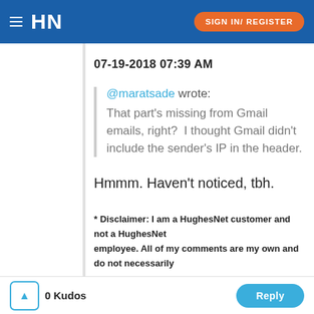HN  SIGN IN/ REGISTER
07-19-2018 07:39 AM
@maratsade wrote: That part's missing from Gmail emails, right?  I thought Gmail didn't include the sender's IP in the header.
Hmmm. Haven't noticed, tbh.
* Disclaimer: I am a HughesNet customer and not a HughesNet employee. All of my comments are my own and do not necessarily
0 Kudos  Reply